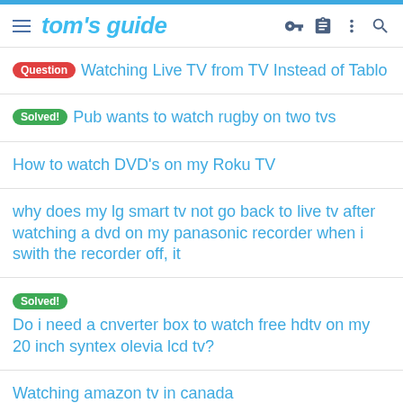tom's guide
Question  Watching Live TV from TV Instead of Tablo
Solved!  Pub wants to watch rugby on two tvs
How to watch DVD's on my Roku TV
why does my lg smart tv not go back to live tv after watching a dvd on my panasonic recorder when i swith the recorder off, it
Solved!  Do i need a cnverter box to watch free hdtv on my 20 inch syntex olevia lcd tv?
Watching amazon tv in canada